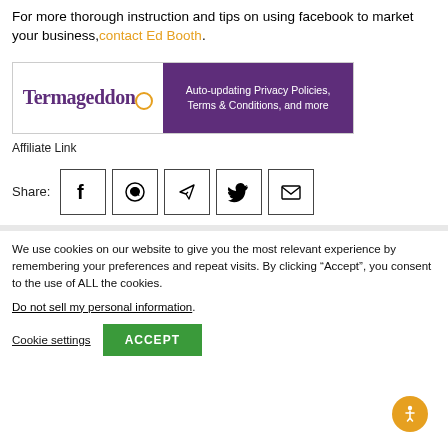For more thorough instruction and tips on using facebook to market your business, contact Ed Booth.
[Figure (other): Termageddon affiliate banner ad — Auto-updating Privacy Policies, Terms & Conditions, and more]
Affiliate Link
Share:
We use cookies on our website to give you the most relevant experience by remembering your preferences and repeat visits. By clicking “Accept”, you consent to the use of ALL the cookies.
Do not sell my personal information.
Cookie settings   ACCEPT